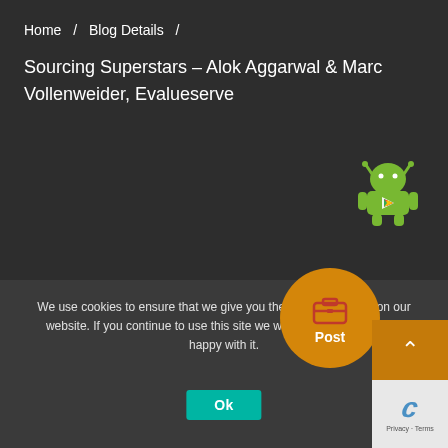Home / Blog Details / Sourcing Superstars – Alok Aggarwal & Marc Vollenweider, Evalueserve
Sourcing Superstars – Alok Aggarwal & Marc Vollenweider, Evalueserve
[Figure (logo): Android robot mascot logo with Google Play triangle icon on chest]
[Figure (infographic): Orange circular Post button with briefcase/suitcase icon]
We use cookies to ensure that we give you the best experience on our website. If you continue to use this site we will assume that you are happy with it.
[Figure (logo): Google reCAPTCHA badge showing stylized c logo with Privacy and Terms text]
Ok